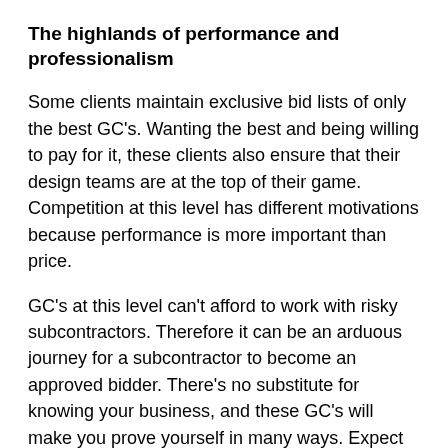The highlands of performance and professionalism
Some clients maintain exclusive bid lists of only the best GC's. Wanting the best and being willing to pay for it, these clients also ensure that their design teams are at the top of their game. Competition at this level has different motivations because performance is more important than price.
GC's at this level can't afford to work with risky subcontractors. Therefore it can be an arduous journey for a subcontractor to become an approved bidder. There's no substitute for knowing your business, and these GC's will make you prove yourself in many ways. Expect lots of questions, interviews, meetings, and financial reviews as part of their standard procedure. In my experience, these firms are quick to answer your questions, and they are